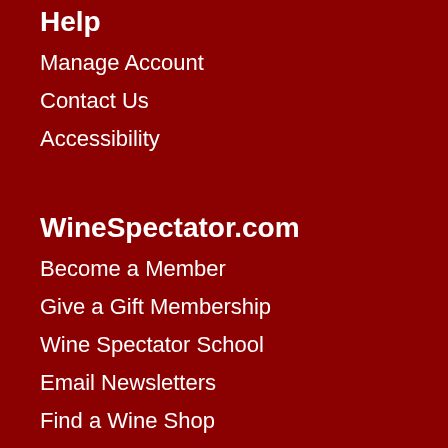Help
Manage Account
Contact Us
Accessibility
WineSpectator.com
Become a Member
Give a Gift Membership
Wine Spectator School
Email Newsletters
Find a Wine Shop
RSS
Wine Spectator Magazine